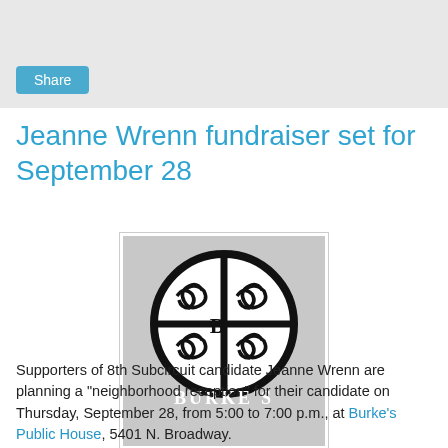Share
Jeanne Wrenn fundraiser set for September 28
[Figure (logo): Burke's Public House logo — circular Celtic knotwork emblem above the text 'BURKE'S PUBLIC HOUSE' on a grey background]
Supporters of 8th Subcircuit candidate Jeanne Wrenn are planning a "neighborhood reception" for their candidate on Thursday, September 28, from 5:00 to 7:00 p.m., at Burke's Public House, 5401 N. Broadway.